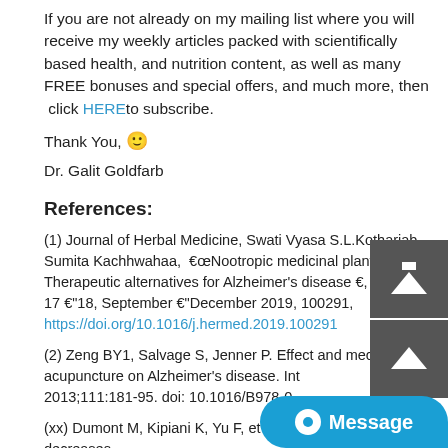If you are not already on my mailing list where you will receive my weekly articles packed with scientifically based health, and nutrition content, as well as many FREE bonuses and special offers, and much more, then  click HERE to subscribe.
Thank You, 🙂
Dr. Galit Goldfarb
References:
(1) Journal of Herbal Medicine, Swati Vyasa S.L.Kothariab Sumita Kachhwahaa,  €œNootropic medicinal plants: Therapeutic alternatives for Alzheimer’s disease €, Volumes 17 €“18, September €“December 2019, 100291, https://doi.org/10.1016/j.hermed.2019.100291
(2) Zeng BY1, Salvage S, Jenner P. Effect and mechanism of acupuncture on Alzheimer’s disease. Int Rev Neurobiol. 2013;111:181-95. doi: 10.1016/B978-0-...
(xx) Dumont M, Kipiani K, Yu F, et al. Coenzyme Q10 decreases...